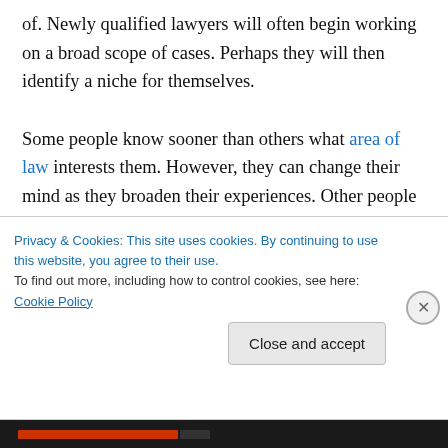of. Newly qualified lawyers will often begin working on a broad scope of cases. Perhaps they will then identify a niche for themselves.

Some people know sooner than others what area of law interests them. However, they can change their mind as they broaden their experiences. Other people might take a while to work things out. It's a good idea to keep an open mind about the possibilities open to you. As well as thinking about your interests, there are other factors to take into account. You need to consider your strengths, as
Privacy & Cookies: This site uses cookies. By continuing to use this website, you agree to their use.
To find out more, including how to control cookies, see here: Cookie Policy
Close and accept